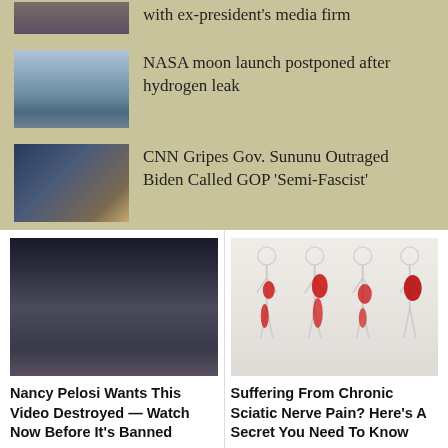with ex-president's media firm
[Figure (photo): Partial image of people, cropped at top]
NASA moon launch postponed after hydrogen leak
[Figure (photo): Rocket on launch pad]
CNN Gripes Gov. Sununu Outraged Biden Called GOP 'Semi-Fascist'
[Figure (photo): CNN news panel screenshot]
Promoted X
[Figure (photo): Political figures including Nancy Pelosi and Joe Biden]
Nancy Pelosi Wants This Video Destroyed — Watch Now Before It's Banned
182,125
[Figure (illustration): Medical illustration of human body showing sciatic nerve pain areas in red]
Suffering From Chronic Sciatic Nerve Pain? Here's A Secret You Need To Know
88,667